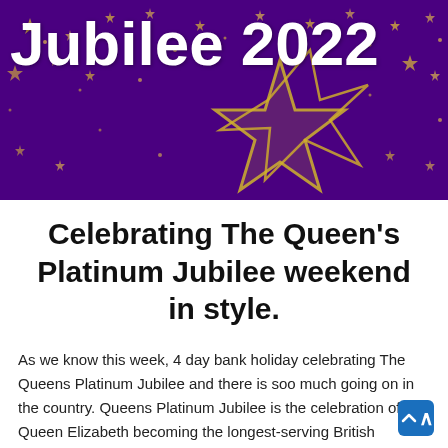[Figure (illustration): Purple banner with gold stars scattered across it and a large glittering gold star outline in the center-right area. White bold text reads 'Jubilee 2022' in the upper left.]
Celebrating The Queen's Platinum Jubilee weekend in style.
As we know this week, 4 day bank holiday celebrating The Queens Platinum Jubilee and there is soo much going on in the country. Queens Platinum Jubilee is the celebration of Queen Elizabeth becoming the longest-serving British monarch.